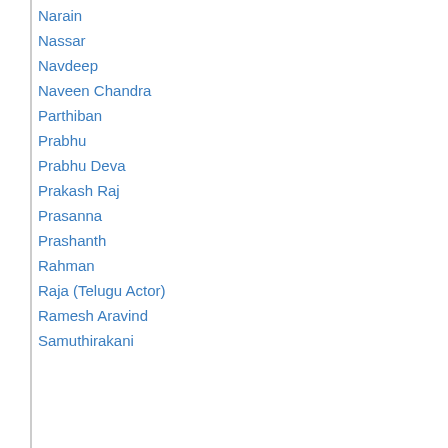Narain
Nassar
Navdeep
Naveen Chandra
Parthiban
Prabhu
Prabhu Deva
Prakash Raj
Prasanna
Prashanth
Rahman
Raja (Telugu Actor)
Ramesh Aravind
Samuthirakani